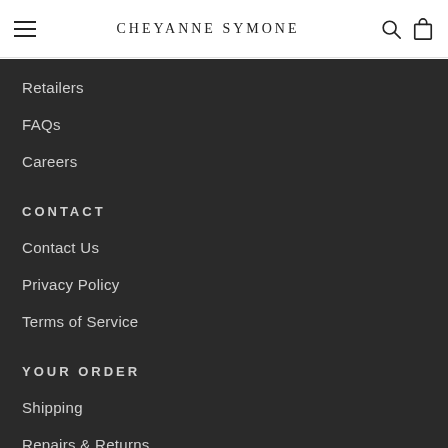CHEYANNE SYMONE
Retailers
FAQs
Careers
CONTACT
Contact Us
Privacy Policy
Terms of Service
YOUR ORDER
Shipping
Repairs & Returns